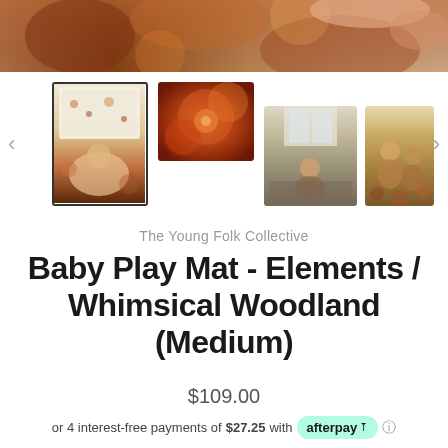[Figure (photo): Main product hero image showing a baby play mat with warm earth-tone colors, brown and orange patterns, partially visible at top of page]
[Figure (photo): Thumbnail gallery row with 4 product images: (1) selected thumbnail showing flat mat and baby overhead view; (2) close-up of orange mushroom pattern; (3) child playing on mat on floor; (4) two people sitting on patterned mat]
The Young Folk Collective
Baby Play Mat - Elements / Whimsical Woodland (Medium)
$109.00
or 4 interest-free payments of $27.25 with afterpay ⓘ